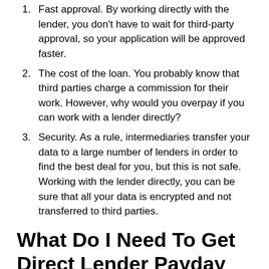Fast approval. By working directly with the lender, you don't have to wait for third-party approval, so your application will be approved faster.
The cost of the loan. You probably know that third parties charge a commission for their work. However, why would you overpay if you can work with a lender directly?
Security. As a rule, intermediaries transfer your data to a large number of lenders in order to find the best deal for you, but this is not safe. Working with the lender directly, you can be sure that all your data is encrypted and not transferred to third parties.
What Do I Need To Get Direct Lender Payday Loan?
Of course, in order to get a loan from a direct lender, you